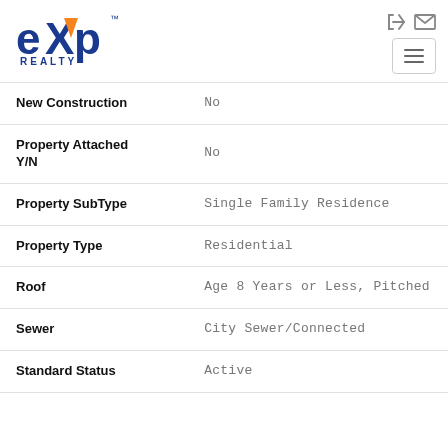[Figure (logo): eXp Realty logo with blue and orange lettering]
| Field | Value |
| --- | --- |
| New Construction | No |
| Property Attached Y/N | No |
| Property SubType | Single Family Residence |
| Property Type | Residential |
| Roof | Age 8 Years or Less, Pitched |
| Sewer | City Sewer/Connected |
| Standard Status | Active |